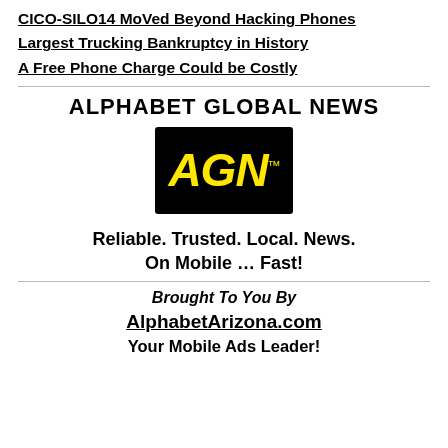CICO-SILO14 MoVed Beyond Hacking Phones
Largest Trucking Bankruptcy in History
A Free Phone Charge Could be Costly
ALPHABET GLOBAL NEWS
[Figure (logo): AGN logo: black rectangle with yellow italic bold text 'AGN' and trademark symbol]
Reliable. Trusted. Local. News.
On Mobile … Fast!
Brought To You By
AlphabetArizona.com
Your Mobile Ads Leader!